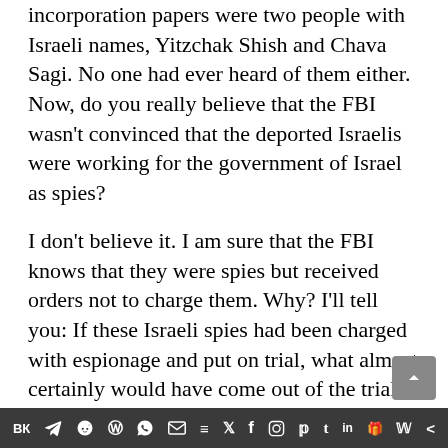incorporation papers were two people with Israeli names, Yitzchak Shish and Chava Sagi. No one had ever heard of them either. Now, do you really believe that the FBI wasn't convinced that the deported Israelis were working for the government of Israel as spies?
I don't believe it. I am sure that the FBI knows that they were spies but received orders not to charge them. Why? I'll tell you: If these Israeli spies had been charged with espionage and put on trial, what almost certainly would have come out of the trials is that Israel knew about September 11 ahead of time and deliberately withheld the information from us so that the attacks could be carried out as planned. The
🇻🇰 ✈ 🔴 Ⓦ © ✉ ≡ 𝕏 f 📷 𝕡 t in 🎁 𝕎 ≺